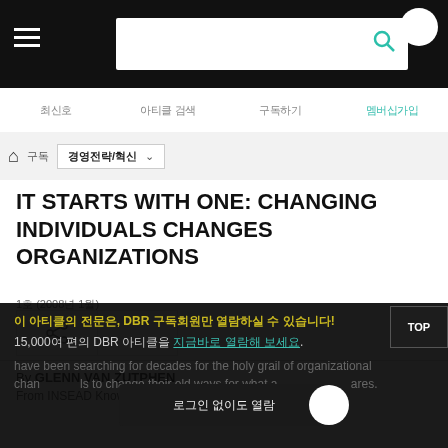Navigation header with hamburger menu and search bar
Nav bar: 최신호 | 아티클 검색 | 구독하기 | 멤버십가입
Breadcrumb: Home > 구독 > 경영전략/혁신 (dropdown)
IT STARTS WITH ONE: CHANGING INDIVIDUALS CHANGES ORGANIZATIONS
1호 (2008년 1월)
By GLENN VAN ZUTPHEN
From INSEAD Knowledge (http://knowledge.insead.edu)
이 아티클의 전문은, DBR 구독회원만 열람하실 수 있습니다!
15,000여 편의 DBR 아티클을 지금바로 열람해 보세요.
organizational change. have been searching for decades for the holy grail of organizational change. ls to change their old ways for what a ares.